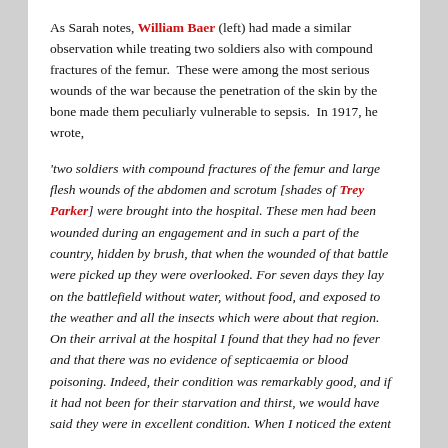As Sarah notes, William Baer (left) had made a similar observation while treating two soldiers also with compound fractures of the femur. These were among the most serious wounds of the war because the penetration of the skin by the bone made them peculiarly vulnerable to sepsis. In 1917, he wrote,
'two soldiers with compound fractures of the femur and large flesh wounds of the abdomen and scrotum [shades of Trey Parker] were brought into the hospital. These men had been wounded during an engagement and in such a part of the country, hidden by brush, that when the wounded of that battle were picked up they were overlooked. For seven days they lay on the battlefield without water, without food, and exposed to the weather and all the insects which were about that region. On their arrival at the hospital I found that they had no fever and that there was no evidence of septicaemia or blood poisoning. Indeed, their condition was remarkably good, and if it had not been for their starvation and thirst, we would have said they were in excellent condition. When I noticed the extent